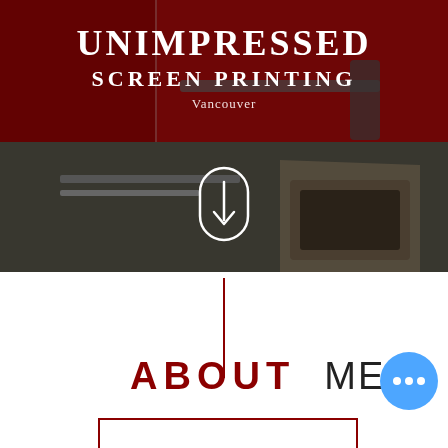[Figure (photo): Dark red-tinted hero image of a screen printing workshop with equipment visible. Top portion has deep red overlay with white text 'UNIMPRESSED SCREEN PRINTING Vancouver'. Bottom portion shows grayscale/dark image of printing equipment with a scroll-down arrow icon in a rounded rectangle outline in the center.]
[Figure (other): Thin vertical red line acting as a divider below the hero image, centered horizontally.]
ABOUT ME
[Figure (other): Blue circular button with three horizontal dots (ellipsis menu) in the bottom right area.]
[Figure (other): Partial red-bordered rectangle visible at the very bottom of the page.]